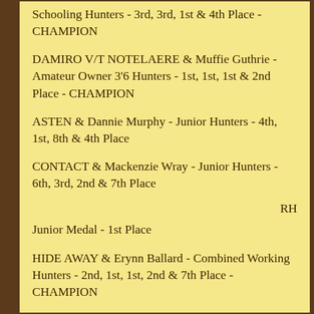Schooling Hunters - 3rd, 3rd, 1st & 4th Place - CHAMPION
DAMIRO V/T NOTELAERE & Muffie Guthrie - Amateur Owner 3'6 Hunters - 1st, 1st, 1st & 2nd Place - CHAMPION
ASTEN & Dannie Murphy - Junior Hunters - 4th, 1st, 8th & 4th Place
CONTACT & Mackenzie Wray - Junior Hunters - 6th, 3rd, 2nd & 7th Place
RH
Junior Medal - 1st Place
HIDE AWAY & Erynn Ballard - Combined Working Hunters - 2nd, 1st, 1st, 2nd & 7th Place - CHAMPION